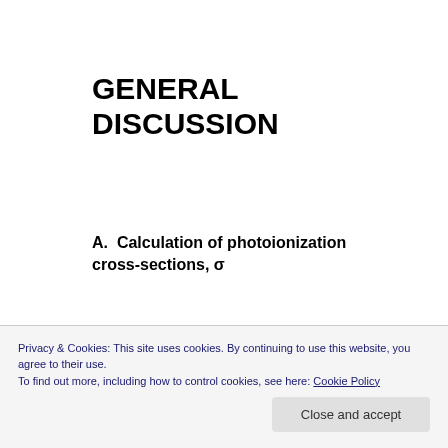GENERAL DISCUSSION
A.  Calculation of photoionization cross-sections, σ
We have used the atomic σ values of Scofield [5] because a) they are considered the most reliable; b) they
criticized in their comparison of t-